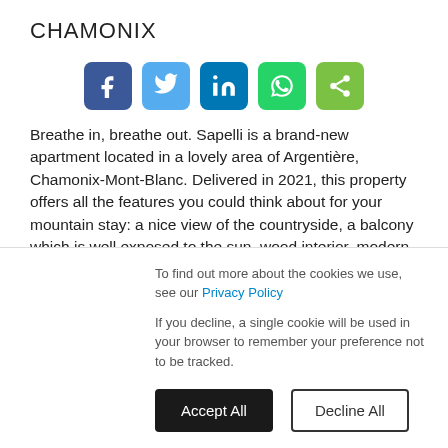CHAMONIX
[Figure (infographic): Row of five social media share buttons: Facebook (dark blue), Twitter (light blue), LinkedIn (dark blue), WhatsApp (green), Share (light green)]
Breathe in, breathe out. Sapelli is a brand-new apartment located in a lovely area of Argentière, Chamonix-Mont-Blanc. Delivered in 2021, this property offers all the features you could think about for your mountain stay: a nice view of the countryside, a balcony which is well exposed to the sun, wood interior, modern and comfortable furniture as well as fully equipped spaces. The apartment comprises two double bedrooms plus two extra sleeping options for children on the mezzanine
To find out more about the cookies we use, see our Privacy Policy

If you decline, a single cookie will be used in your browser to remember your preference not to be tracked.
Accept All
Decline All